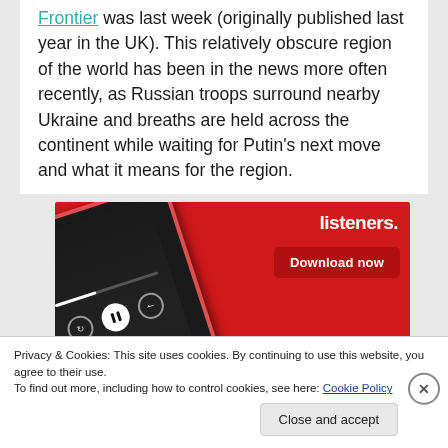Frontier was last week (originally published last year in the UK). This relatively obscure region of the world has been in the news more often recently, as Russian troops surround nearby Ukraine and breaths are held across the continent while waiting for Putin's next move and what it means for the region.
[Figure (photo): Advertisement image on red background showing a smartphone with a podcast player app open, text reading 'listeners.' and '-trib-uted' in large letters, with a red 'Download now' button]
Privacy & Cookies: This site uses cookies. By continuing to use this website, you agree to their use.
To find out more, including how to control cookies, see here: Cookie Policy
Close and accept